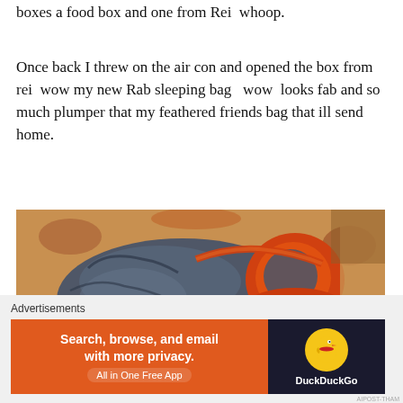boxes a food box and one from Rei  whoop.
Once back I threw on the air con and opened the box from rei  wow my new Rab sleeping bag   wow  looks fab and so much plumper that my feathered friends bag that ill send home.
[Figure (photo): A blue and orange Rab sleeping bag lying on a floral patterned bedspread/quilt on a bed. The sleeping bag is mummy-style, prominently showing the Rab logo in orange lettering.]
Advertisements
[Figure (screenshot): DuckDuckGo advertisement banner. Left side orange background with text: 'Search, browse, and email with more privacy. All in One Free App'. Right side dark background with DuckDuckGo duck logo and 'DuckDuckGo' text.]